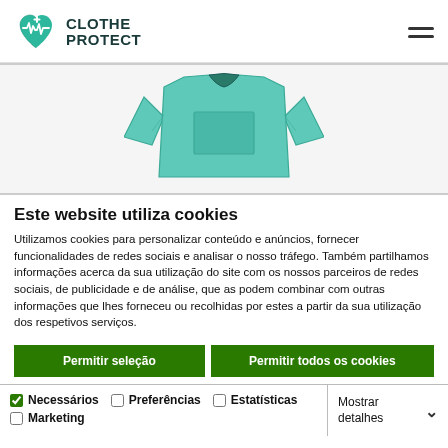[Figure (logo): Clothe Protect logo — teal heart with ECG line and plus sign, beside bold text CLOTHE PROTECT]
[Figure (illustration): Teal/mint long-sleeve medical scrub top illustration on light grey background]
Este website utiliza cookies
Utilizamos cookies para personalizar conteúdo e anúncios, fornecer funcionalidades de redes sociais e analisar o nosso tráfego. Também partilhamos informações acerca da sua utilização do site com os nossos parceiros de redes sociais, de publicidade e de análise, que as podem combinar com outras informações que lhes forneceu ou recolhidas por estes a partir da sua utilização dos respetivos serviços.
Permitir seleção | Permitir todos os cookies
Necessários  Preferências  Estatísticas  Marketing  Mostrar detalhes